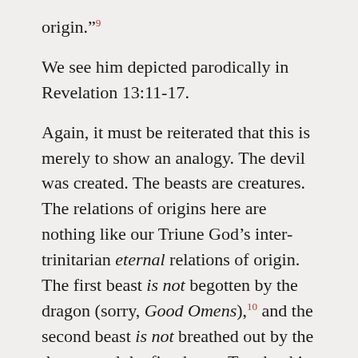origin.”⁹
We see him depicted parodically in Revelation 13:11-17.
Again, it must be reiterated that this is merely to show an analogy. The devil was created. The beasts are creatures. The relations of origins here are nothing like our Triune God’s inter-trinitarian eternal relations of origin. The first beast is not begotten by the dragon (sorry, Good Omens),¹⁰ and the second beast is not breathed out by the dragon and the first beast. To take this blog post too far is to enter the dangerous (heretical?) waters of